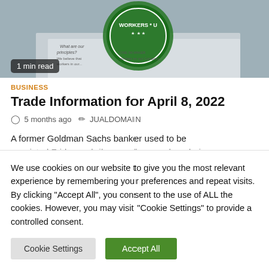[Figure (photo): Photo showing Starbucks Workers United pin/button on top of documents, with text overlaid showing '1 min read']
BUSINESS
Trade Information for April 8, 2022
5 months ago   JUALDOMAIN
A former Goldman Sachs banker used to be convicted Friday on bribery and money laundering...
We use cookies on our website to give you the most relevant experience by remembering your preferences and repeat visits. By clicking "Accept All", you consent to the use of ALL the cookies. However, you may visit "Cookie Settings" to provide a controlled consent.